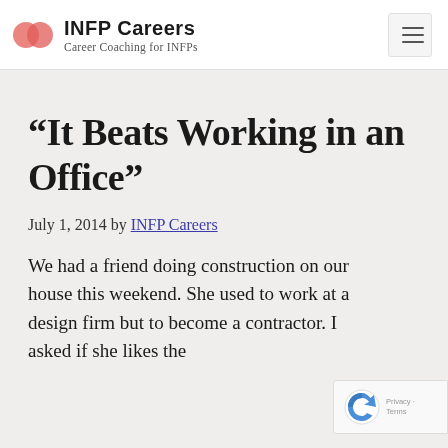INFP Careers – Career Coaching for INFPs
“It Beats Working in an Office”
July 1, 2014 by INFP Careers
We had a friend doing construction on our house this weekend. She used to work at a design firm but to become a contractor. I asked if she likes the